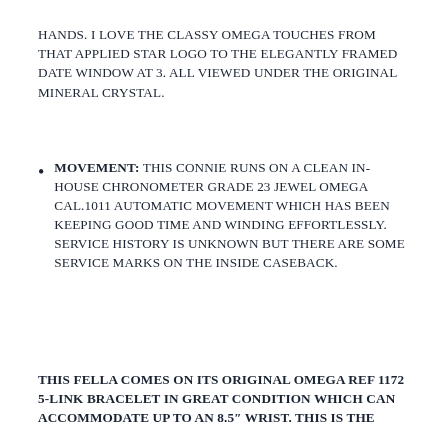HANDS. I LOVE THE CLASSY OMEGA TOUCHES FROM THAT APPLIED STAR LOGO TO THE ELEGANTLY FRAMED DATE WINDOW AT 3. ALL VIEWED UNDER THE ORIGINAL MINERAL CRYSTAL.
MOVEMENT: THIS CONNIE RUNS ON A CLEAN IN-HOUSE CHRONOMETER GRADE 23 JEWEL OMEGA CAL.1011 AUTOMATIC MOVEMENT WHICH HAS BEEN KEEPING GOOD TIME AND WINDING EFFORTLESSLY. SERVICE HISTORY IS UNKNOWN BUT THERE ARE SOME SERVICE MARKS ON THE INSIDE CASEBACK.
THIS FELLA COMES ON ITS ORIGINAL OMEGA REF 1172 5-LINK BRACELET IN GREAT CONDITION WHICH CAN ACCOMMODATE UP TO AN 8.5" WRIST. THIS IS THE